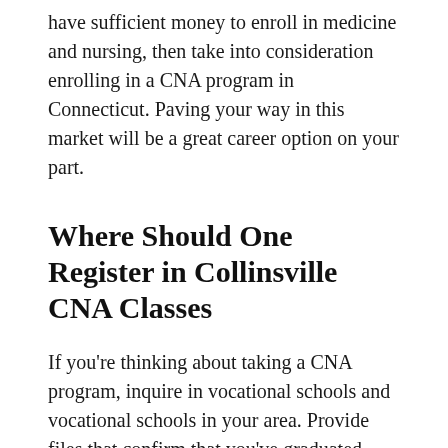have sufficient money to enroll in medicine and nursing, then take into consideration enrolling in a CNA program in Connecticut. Paving your way in this market will be a great career option on your part.
Where Should One Register in Collinsville CNA Classes
If you're thinking about taking a CNA program, inquire in vocational schools and vocational schools in your area. Provide files that confirm that you've graduated high school since this will qualify you in the course. On the other hand, you might present a GED equivalent. Educational institutions make sure their graduate students are clean from any criminal records, given that Certified nursing assistants have got immediate access to ill clients. Because of this